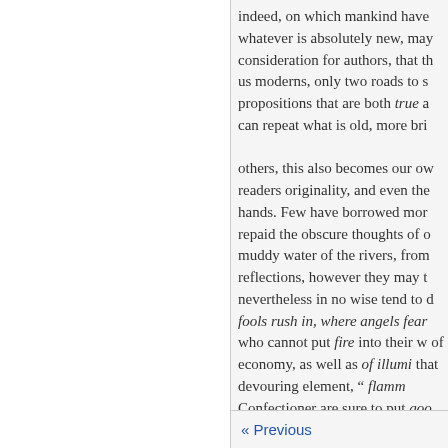indeed, on which mankind have whatever is absolutely new, may consideration for authors, that th us moderns, only two roads to s propositions that are both true a can repeat what is old, more bri others, this also becomes our ow readers originality, and even the hands. Few have borrowed mor repaid the obscure thoughts of o muddy water of the rivers, from reflections, however they may t nevertheless in no wise tend to d fools rush in, where angels fear who cannot put fire into their w of economy, as well as of illumi that devouring element, " flamm Confectioner are sure to put goo With respect to the style I have subject; avoiding all pomp of w turgidity although it may be as a
« Previous